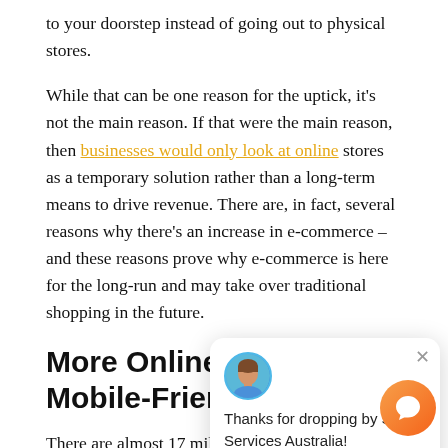to your doorstep instead of going out to physical stores.
While that can be one reason for the uptick, it's not the main reason. If that were the main reason, then businesses would only look at online stores as a temporary solution rather than a long-term means to drive revenue. There are, in fact, several reasons why there's an increase in e-commerce – and these reasons prove why e-commerce is here for the long-run and may take over traditional shopping in the future.
More Online Stores Are Mobile-Friendly
There are almost 17 million... This means that instead of having to boot up a computer or a laptop, a person's access to the internet is right at their fingertips. Originally, online shopping was a long process that didn't really give it an edge over traditional shopping.
[Figure (screenshot): Chat widget popup from SEO Services Australia showing a female avatar, a close button (×), and the text 'Thanks for dropping by SEO Services Australia! How can I help?' along with an orange chat button in the bottom-right corner.]